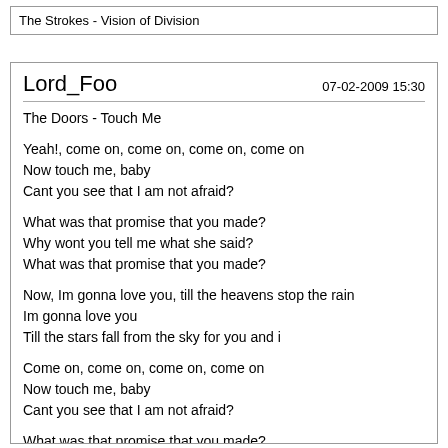The Strokes - Vision of Division
Lord_Foo	07-02-2009 15:30
The Doors - Touch Me

Yeah!, come on, come on, come on, come on
Now touch me, baby
Cant you see that I am not afraid?

What was that promise that you made?
Why wont you tell me what she said?
What was that promise that you made?

Now, Im gonna love you, till the heavens stop the rain
Im gonna love you
Till the stars fall from the sky for you and i

Come on, come on, come on, come on
Now touch me, baby
Cant you see that I am not afraid?

What was that promise that you made?
Why wont you tell me what she said?
What was that promise that you made?

Im gonna love you, till the heavens stop the rain
Im gonna love you